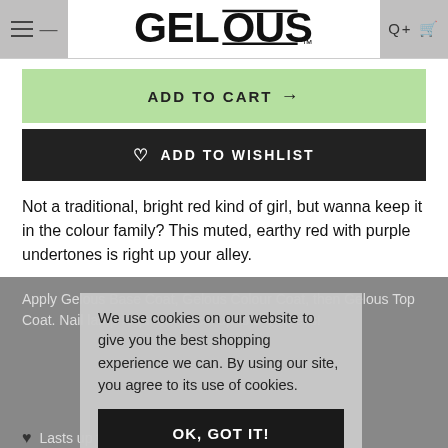GELOUS
ADD TO CART →
♡ ADD TO WISHLIST
Not a traditional, bright red kind of girl, but wanna keep it in the colour family? This muted, earthy red with purple undertones is right up your alley.
Apply Gelous Base Coat, Gelous Colour Coat, then Gelous Top Coat. Nail lamp required. Lasts up to 2-3 weeks!
We use cookies on our website to give you the best shopping experience we can. By using our site, you agree to its use of cookies.
OK, GOT IT!
Lasts up to 2 weeks
Cures in 60 seconds
No smudging once cured